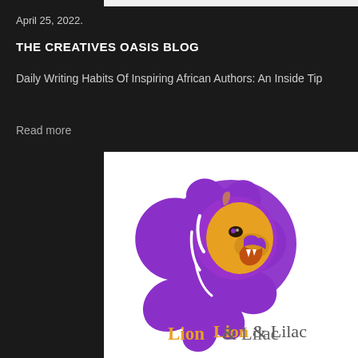April 25, 2022.
THE CREATIVES OASIS BLOG
Daily Writing Habits Of Inspiring African Authors: An Inside Tip
Read more
[Figure (logo): Lion & Lilac logo featuring a purple lion with golden face roaring, with text 'Lion & Lilac' below in gold and purple colors on white background]